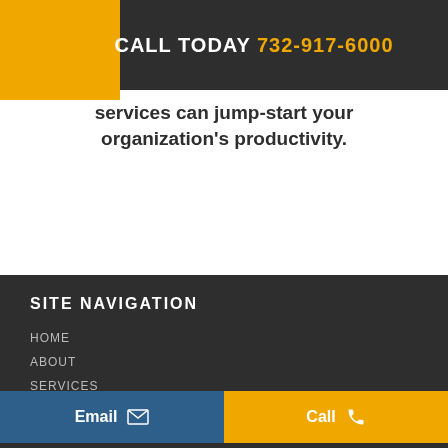CALL TODAY 732-917-6000
services can jump-start your organization's productivity.
SITE NAVIGATION
HOME
ABOUT
SERVICES
HR OUTSOURCING
SMALL BU...
PEO
HR BLOG
Email
Call